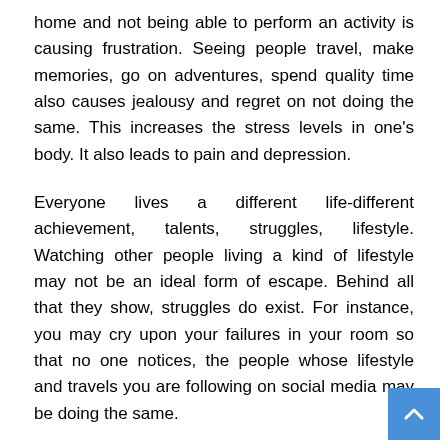home and not being able to perform an activity is causing frustration. Seeing people travel, make memories, go on adventures, spend quality time also causes jealousy and regret on not doing the same. This increases the stress levels in one's body. It also leads to pain and depression.
Everyone lives a different life-different achievement, talents, struggles, lifestyle. Watching other people living a kind of lifestyle may not be an ideal form of escape. Behind all that they show, struggles do exist. For instance, you may cry upon your failures in your room so that no one notices, the people whose lifestyle and travels you are following on social media may be doing the same.
It also provides us unlimited access to global news. Certain incidents that occur can cause grief, anxiety leading to stress in an individual. This information is available widely on social